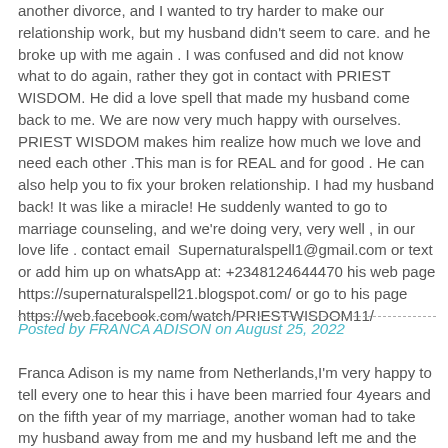another divorce, and I wanted to try harder to make our relationship work, but my husband didn't seem to care. and he broke up with me again . I was confused and did not know what to do again, rather they got in contact with PRIEST WISDOM. He did a love spell that made my husband come back to me. We are now very much happy with ourselves. PRIEST WISDOM makes him realize how much we love and need each other .This man is for REAL and for good . He can also help you to fix your broken relationship. I had my husband back! It was like a miracle! He suddenly wanted to go to marriage counseling, and we're doing very, very well , in our love life . contact email  Supernaturalspell1@gmail.com or text or add him up on whatsApp at: +2348124644470 his web page https://supernaturalspell21.blogspot.com/ or go to his page https://web.facebook.com/watch/PRIESTWISDOM11/
Posted by FRANCA ADISON on August 25, 2022
Franca Adison is my name from Netherlands,I'm very happy to tell every one to hear this i have been married four 4years and on the fifth year of my marriage, another woman had to take my husband away from me and my husband left me and the kids and we have suffered for 2years until i met a post where this man doctor4mavoo@gmail.com have helped someone and i decided to give him a try to help me bring my husband back home and believe me i just send my picture to him and that of my husband and after 48hours as he have told me, i saw a car drove into the house and behold it was my husband and he have come to me and the